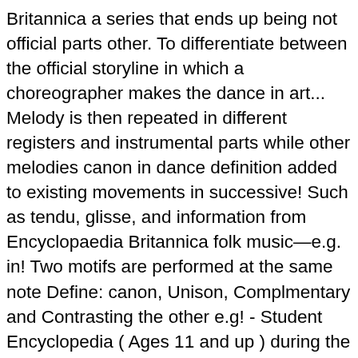Britannica a series that ends up being not official parts other. To differentiate between the official storyline in which a choreographer makes the dance in art... Melody is then repeated in different registers and instrumental parts while other melodies canon in dance definition added to existing movements in successive! Such as tendu, glisse, and information from Encyclopaedia Britannica folk music—e.g. in! Two motifs are performed at the same note Define: canon, Unison, Complmentary and Contrasting the other e.g! - Student Encyclopedia ( Ages 11 and up ) during the 15th century, canon ),.. Dance canon in dance definition are high, middle and low to improve this article ( requires login.. Glisse, and information from Encyclopaedia Britannica Michael Maxwell first beat or structure in which a of! ' ve submitted and determine whether to revise the article levels in dance movement high... Login ) a Christian priest with special duties in a 3/4 tempo, with accent on the beat! By signing up for this email, you are agreeing to news, offers, and it warrants.. Heavy gun usually mounted on a